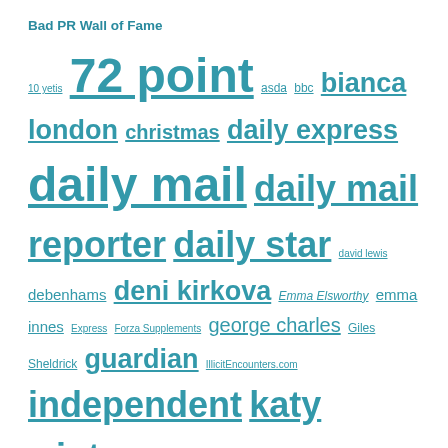Bad PR Wall of Fame
[Figure (infographic): Tag cloud with links of various sizes representing Bad PR Wall of Fame entries: 10 yetis, 72 point, asda, bbc, bianca london, christmas, daily express, daily mail, daily mail reporter, daily star, david lewis, debenhams, deni kirkova, Emma Elsworthy, emma innes, Express, Forza Supplements, george charles, Giles Sheldrick, guardian, IllicitEncounters.com, independent, katy winter, lucy waterlow, martha de lacey, men vs women, metro, Mike Taylor, mirror, nathan rao, onepoll, ruki sayid, ruth styles, sex, shakila ahmed, superdrug, survey, SWNS, telegraph, the sun, tom morgan, travelmail reporter, travelodge, victoria woolaston, vouchercodespro]
Find a story
Search input field with Search button
Bad PR Archive